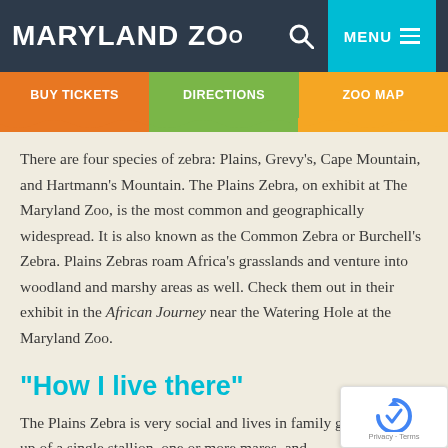MARYLAND ZOO
MENU
BUY TICKETS | DIRECTIONS | ZOO MAP
There are four species of zebra: Plains, Grevy's, Cape Mountain, and Hartmann's Mountain. The Plains Zebra, on exhibit at The Maryland Zoo, is the most common and geographically widespread. It is also known as the Common Zebra or Burchell's Zebra. Plains Zebras roam Africa's grasslands and venture into woodland and marshy areas as well. Check them out in their exhibit in the African Journey near the Watering Hole at the Maryland Zoo.
“How I live there”
The Plains Zebra is very social and lives in family groups made up of a single stallion, one or more mares, and